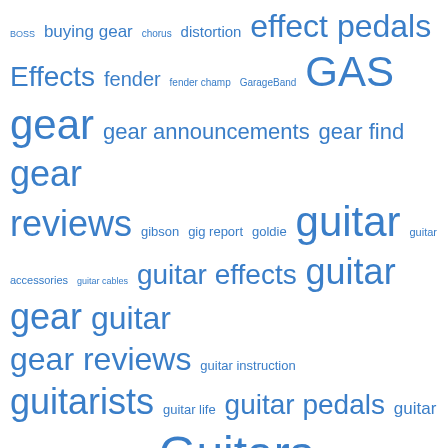[Figure (other): Tag cloud with music/guitar-related terms in varying sizes and blue color. Terms include: BOSS, buying gear, chorus, distortion, effect pedals, Effects, fender, fender champ, GarageBand, GAS, gear, gear announcements, gear find, gear reviews, gibson, gig report, goldie, guitar, guitar accessories, guitar cables, guitar effects, guitar gear, guitar gear reviews, guitarists, guitar instruction, guitar life, guitar pedals, guitar picks, guitar reviews, Guitars, guitar speakers, Hot Rod Deluxe, inspiration, instruction, learn guitar, les paul, MojoMojo, Music, musicians, new gear, new song, overdrive, pedalboard, pedals, perry riggs, picks, plectrum]